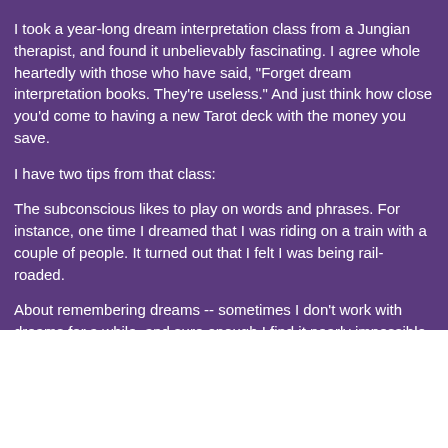I took a year-long dream interpretation class from a Jungian therapist, and found it unbelievably fascinating. I agree whole heartedly with those who have said, "Forget dream interpretation books. They're useless." And just think how close you'd come to having a new Tarot deck with the money you save.
I have two tips from that class:
The subconscious likes to play on words and phrases. For instance, one time I dreamed that I was riding on a train with a couple of people. It turned out that I felt I was being rail-roaded.
About remembering dreams -- sometimes I don't work with dreams for a while, and sure enough I find it nearly impossible to remember them. The instructor suggested that I write down any minute detail I could